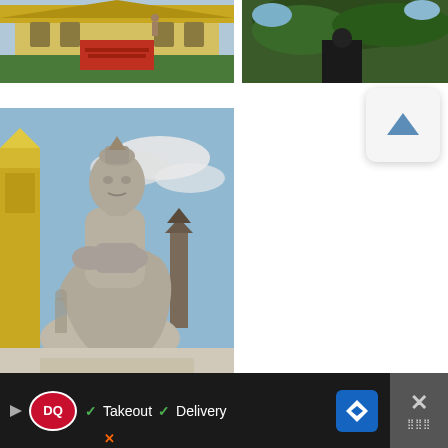[Figure (photo): Thai temple with yellow building, red stairs, green hedges at top]
[Figure (photo): Bronze statue or figure under green tree branches]
[Figure (photo): Large kneeling stone guardian statue at Thai temple with golden shrine and pagoda in background]
[Figure (screenshot): Scroll-up navigation button with upward triangle arrow on light grey rounded square background]
[Figure (screenshot): Orange circular like/heart button]
[Figure (screenshot): White circular share button with share icon]
[Figure (screenshot): Dairy Queen advertisement banner with DQ logo, Takeout and Delivery checkmarks, navigation button, and close button]